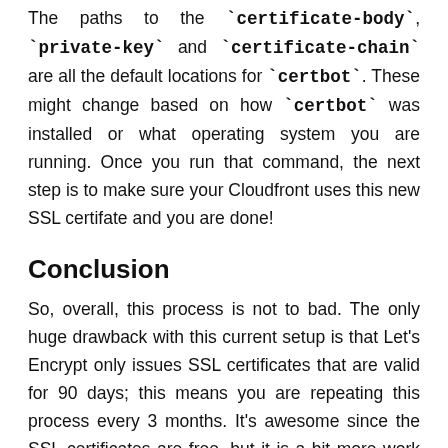The paths to the `certificate-body`, `private-key` and `certificate-chain` are all the default locations for `certbot`. These might change based on how `certbot` was installed or what operating system you are running. Once you run that command, the next step is to make sure your Cloudfront uses this new SSL certifate and you are done!
Conclusion
So, overall, this process is not to bad. The only huge drawback with this current setup is that Let's Encrypt only issues SSL certificates that are valid for 90 days; this means you are repeating this process every 3 months. It's awesome since the SSL certificates are free, but it is a bit more work than just getting a SSL certificate from a company this issues year certificates. Luckily, with